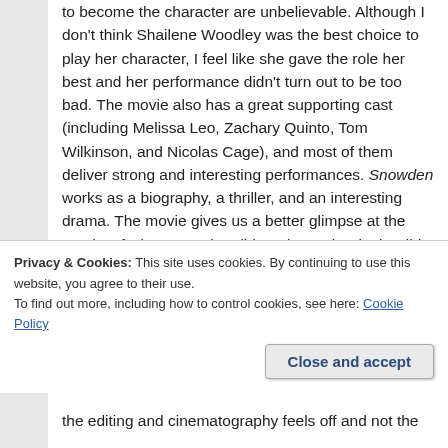to become the character are unbelievable. Although I don't think Shailene Woodley was the best choice to play her character, I feel like she gave the role her best and her performance didn't turn out to be too bad. The movie also has a great supporting cast (including Melissa Leo, Zachary Quinto, Tom Wilkinson, and Nicolas Cage), and most of them deliver strong and interesting performances. Snowden works as a biography, a thriller, and an interesting drama. The movie gives us a better glimpse at the gravity of what Snowden did, and exactly why he did it. We get some depth inside the threat of our security at the time, and the controversy behind whether the NSA was doing the right or wrong thing by looking at our actions and personal information. Oliver Stone convinced me that Snowden was doing the right thing, and for the right
Privacy & Cookies: This site uses cookies. By continuing to use this website, you agree to their use.
To find out more, including how to control cookies, see here: Cookie Policy
Close and accept
the editing and cinematography feels off and not the